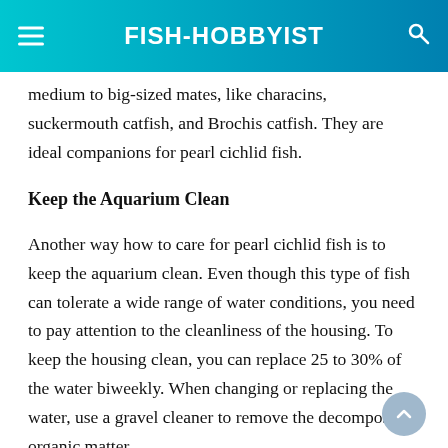FISH-HOBBYIST
medium to big-sized mates, like characins, suckermouth catfish, and Brochis catfish. They are ideal companions for pearl cichlid fish.
Keep the Aquarium Clean
Another way how to care for pearl cichlid fish is to keep the aquarium clean. Even though this type of fish can tolerate a wide range of water conditions, you need to pay attention to the cleanliness of the housing. To keep the housing clean, you can replace 25 to 30% of the water biweekly. When changing or replacing the water, use a gravel cleaner to remove the decomposing organic matter.
In conclusion, keeping the pearl cichlid fish in an aquarium doesn't require complicated ways. Yet, you still need to pay